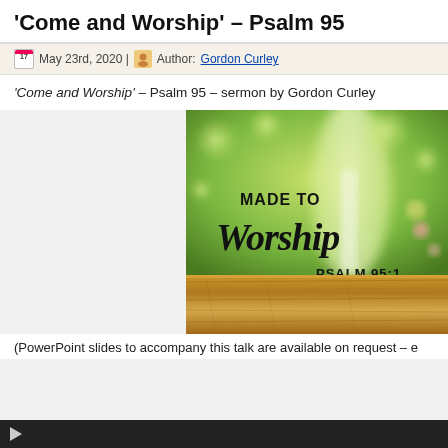'Come and Worship' – Psalm 95
May 23rd, 2020 | Author: Gordon Curley
'Come and Worship' – Psalm 95 – sermon by Gordon Curley
[Figure (photo): Devotional image with green bokeh garden background and wooden table in foreground, with text overlay reading 'MADE TO Worship PSALM 95:1']
(PowerPoint slides to accompany this talk are available on request – e